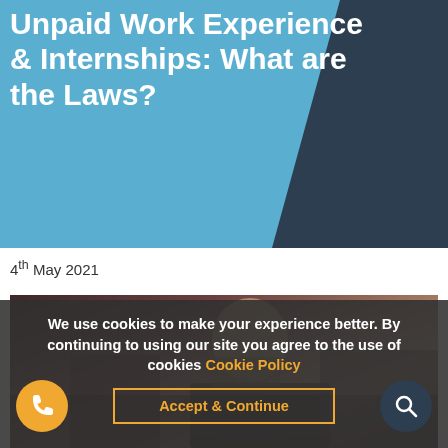Unpaid Work Experience & Internships: What are the Laws?
4th May 2021
[Figure (photo): A young person sitting at a desk, photographed from behind/side, in an office or educational setting]
We use cookies to make your experience better. By continuing to using our site you agree to the use of cookies Cookie Policy
Accept & Continue